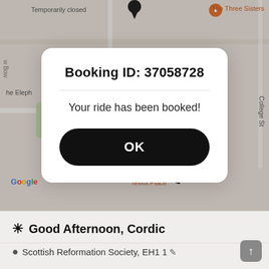[Figure (screenshot): Google Maps background showing Edinburgh streets with landmarks including The Three Sisters, tingthai-CARAVAN Teviot Place, and the Google watermark. A modal dialog overlay shows a booking confirmation.]
Booking ID: 37058728
Your ride has been booked!
OK
☀ Good Afternoon, Cordic
Scottish Reformation Society, EH1 1